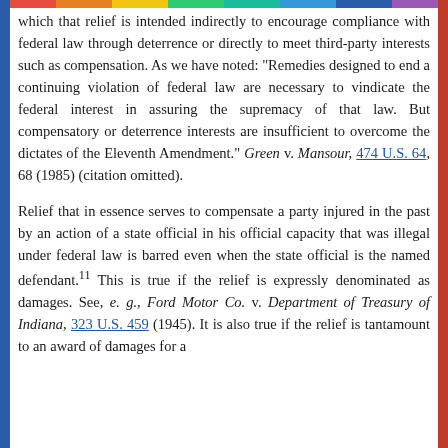which that relief is intended indirectly to encourage compliance with federal law through deterrence or directly to meet third-party interests such as compensation. As we have noted: "Remedies designed to end a continuing violation of federal law are necessary to vindicate the federal interest in assuring the supremacy of that law. But compensatory or deterrence interests are insufficient to overcome the dictates of the Eleventh Amendment." Green v. Mansour, 474 U.S. 64, 68 (1985) (citation omitted).
Relief that in essence serves to compensate a party injured in the past by an action of a state official in his official capacity that was illegal under federal law is barred even when the state official is the named defendant.11 This is true if the relief is expressly denominated as damages. See, e. g., Ford Motor Co. v. Department of Treasury of Indiana, 323 U.S. 459 (1945). It is also true if the relief is tantamount to an award of damages for a